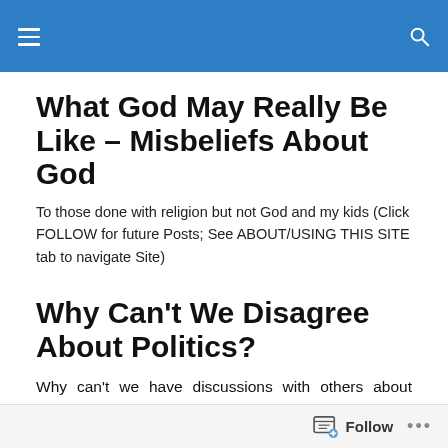Navigation header bar with hamburger menu and search icon
What God May Really Be Like – Misbeliefs About God
To those done with religion but not God and my kids (Click FOLLOW for future Posts; See ABOUT/USING THIS SITE tab to navigate Site)
Why Can't We Disagree About Politics?
Why can't we have discussions with others about politics and religion when disagreeing? There are differences in the political and religious arena, but politicians and
Follow   ...